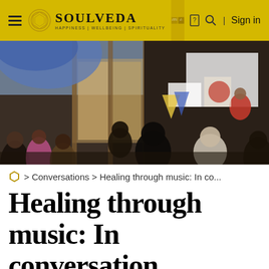SOULVEDA — HAPPINESS | WELLBEING | SPIRITUALITY | Sign in
[Figure (photo): A group of people seated in a hall attending a presentation or workshop. A woman in a red outfit stands at the front near a whiteboard/screen. The audience faces her.]
> Conversations > Healing through music: In co...
Healing through music: In conversation